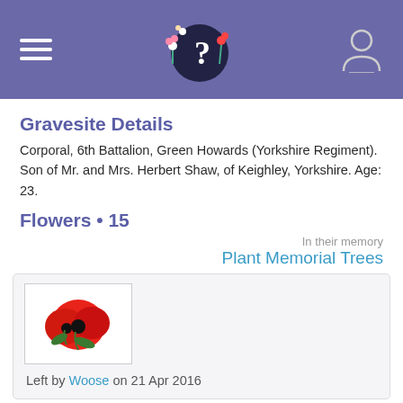[Figure (screenshot): Website header with purple/indigo background. Left: hamburger menu (3 white lines). Center: decorative logo with flowers and question mark on dark circle. Right: user/person icon in white outline.]
Gravesite Details
Corporal, 6th Battalion, Green Howards (Yorkshire Regiment). Son of Mr. and Mrs. Herbert Shaw, of Keighley, Yorkshire. Age: 23.
Flowers • 15
In their memory
Plant Memorial Trees
[Figure (photo): Red poppies with green leaves on white background inside a bordered image box]
Left by Woose on 21 Apr 2016
[Figure (photo): Colorful flower arrangement with red, white, and purple flowers]
🍂❤♥❤🍂